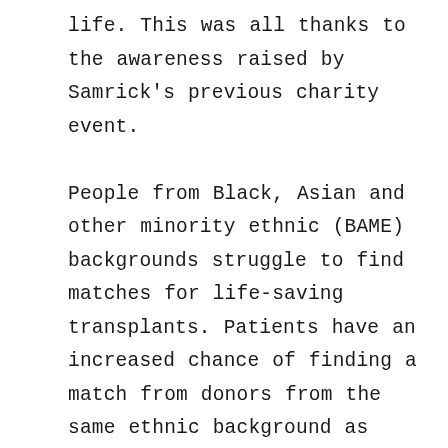life. This was all thanks to the awareness raised by Samrick's previous charity event.

People from Black, Asian and other minority ethnic (BAME) backgrounds struggle to find matches for life-saving transplants. Patients have an increased chance of finding a match from donors from the same ethnic background as them. According to statistics, people from a Caucasian background have a 60% chance of finding a match, meanwhile, those from a BAME background have a low 20% chance. We think a lot of this is to do with education and awareness, and before this event, we had no idea about the desperation for donors from our